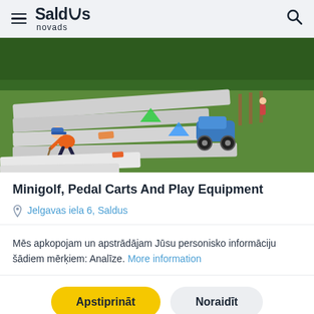Saldus novads
[Figure (photo): Outdoor minigolf course with pedal carts; a child in an orange shirt is playing minigolf, a blue pedal go-kart is visible on the course, green grass and trees in background]
Minigolf, Pedal Carts And Play Equipment
Jelgavas iela 6, Saldus
Mēs apkopojam un apstrādājam Jūsu personisko informāciju šādiem mērķiem: Analīze. More information
Apstiprināt
Noraidīt